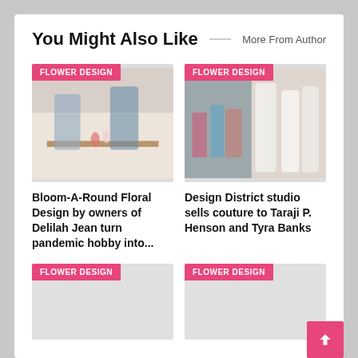You Might Also Like
More From Author
[Figure (photo): Two women posing in a floral design studio with flowers in the background]
FLOWER DESIGN
Bloom-A-Round Floral Design by owners of Delilah Jean turn pandemic hobby into...
[Figure (photo): Women in white couture dresses at a fashion event]
FLOWER DESIGN
Design District studio sells couture to Taraji P. Henson and Tyra Banks
[Figure (photo): Partially visible image placeholder with FLOWER DESIGN badge]
FLOWER DESIGN
[Figure (photo): Partially visible image placeholder with FLOWER DESIGN badge]
FLOWER DESIGN